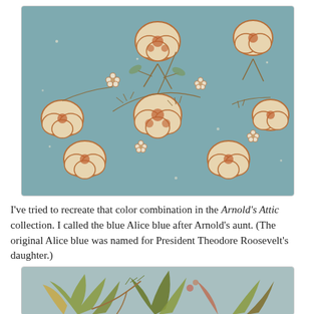[Figure (photo): Close-up photograph of floral fabric/textile with a teal/Alice blue background, featuring cream and rust/terracotta colored clustered flower blossoms with brown leaf/vine details, repeating pattern.]
I've tried to recreate that color combination in the Arnold's Attic collection. I called the blue Alice blue after Arnold's aunt. (The original Alice blue was named for President Theodore Roosevelt's daughter.)
[Figure (photo): Partial close-up photograph of a second floral fabric/textile with a light blue-grey background, featuring large autumn-toned leaves in greens, yellows, and rust colors with curling vines.]